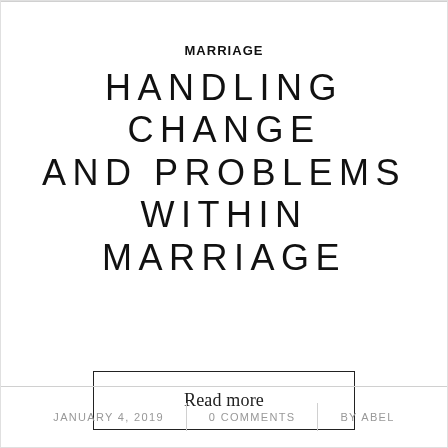MARRIAGE
HANDLING CHANGE AND PROBLEMS WITHIN MARRIAGE
Read more
JANUARY 4, 2019  |  0 COMMENTS  |  BY ABEL